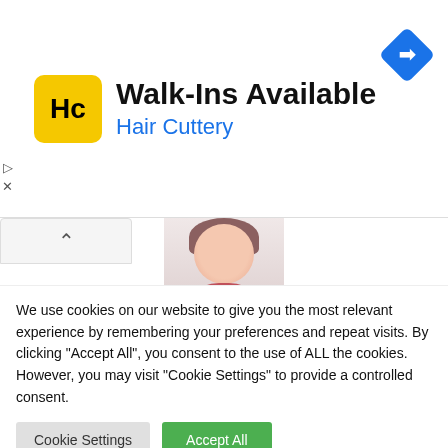[Figure (screenshot): Hair Cuttery advertisement banner with yellow logo showing 'HC', title 'Walk-Ins Available', subtitle 'Hair Cuttery' in blue, and blue navigation diamond icon on the right]
[Figure (photo): Profile photo of Shristi Dumre, a woman smiling in a pink top]
Shristi Dumre
https://techsanchar.com/
Shristi Dumre is a tech enthusiast who has been working as
We use cookies on our website to give you the most relevant experience by remembering your preferences and repeat visits. By clicking "Accept All", you consent to the use of ALL the cookies. However, you may visit "Cookie Settings" to provide a controlled consent.